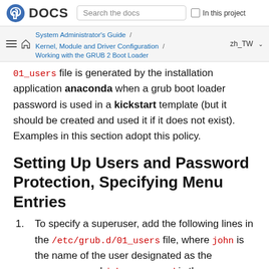DOCS | Search the docs | In this project
System Administrator's Guide / Kernel, Module and Driver Configuration / Working with the GRUB 2 Boot Loader | zh_TW
01_users file is generated by the installation application anaconda when a grub boot loader password is used in a kickstart template (but it should be created and used it if it does not exist). Examples in this section adopt this policy.
Setting Up Users and Password Protection, Specifying Menu Entries
1.  To specify a superuser, add the following lines in the /etc/grub.d/01_users file, where john is the name of the user designated as the superuser, and johnspassword is the